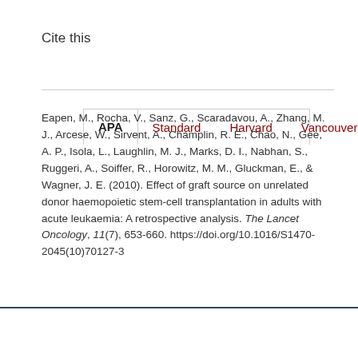Cite this
APA | Standard | Harvard | Vancouver | ...
Eapen, M., Rocha, V., Sanz, G., Scaradavou, A., Zhang, M. J., Arcese, W., Sirvent, A., Champlin, R. E., Chao, N., Gee, A. P., Isola, L., Laughlin, M. J., Marks, D. I., Nabhan, S., Ruggeri, A., Soiffer, R., Horowitz, M. M., Gluckman, E., & Wagner, J. E. (2010). Effect of graft source on unrelated donor haemopoietic stem-cell transplantation in adults with acute leukaemia: A retrospective analysis. The Lancet Oncology, 11(7), 653-660. https://doi.org/10.1016/S1470-2045(10)70127-3